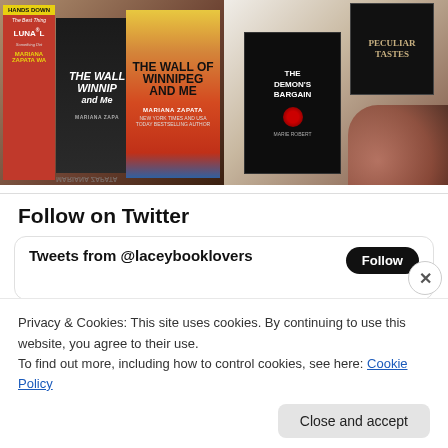[Figure (photo): Two side-by-side book photos: left shows 'The Wall of Winnipeg and Me' by Mariana Zapata in orange/black covers with other books; right shows 'The Demon's Bargain' and 'Peculiar Tastes' dark books on fur background]
Follow on Twitter
[Figure (screenshot): Twitter widget box showing 'Tweets from @laceybooklovers' header with Follow button]
Privacy & Cookies: This site uses cookies. By continuing to use this website, you agree to their use.
To find out more, including how to control cookies, see here: Cookie Policy
Close and accept